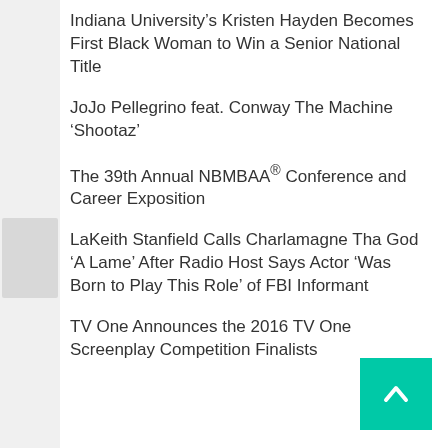Indiana University's Kristen Hayden Becomes First Black Woman to Win a Senior National Title
JoJo Pellegrino feat. Conway The Machine ‘Shootaz’
The 39th Annual NBMBAA® Conference and Career Exposition
LaKeith Stanfield Calls Charlamagne Tha God ‘A Lame’ After Radio Host Says Actor ‘Was Born to Play This Role’ of FBI Informant
TV One Announces the 2016 TV One Screenplay Competition Finalists